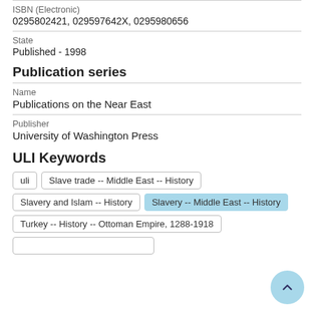ISBN (Electronic)
0295802421, 029597642X, 0295980656
State
Published - 1998
Publication series
Name
Publications on the Near East
Publisher
University of Washington Press
ULI Keywords
uli
Slave trade -- Middle East -- History
Slavery and Islam -- History
Slavery -- Middle East -- History
Turkey -- History -- Ottoman Empire, 1288-1918